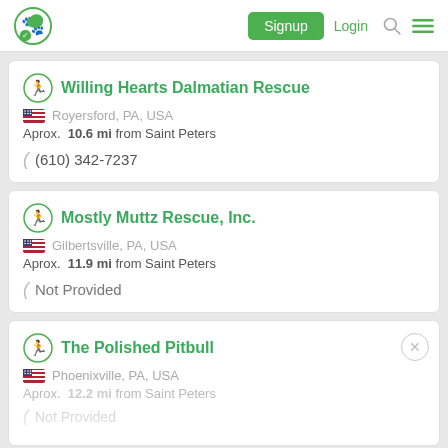Signup | Login
Willing Hearts Dalmatian Rescue
Royersford, PA, USA
Aprox. 10.6 mi from Saint Peters
(610) 342-7237
Mostly Muttz Rescue, Inc.
Gilbertsville, PA, USA
Aprox. 11.9 mi from Saint Peters
Not Provided
The Polished Pitbull
Phoenixville, PA, USA
Aprox. 12.2 mi from Saint Peters
Not Provided